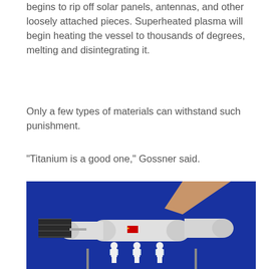begins to rip off solar panels, antennas, and other loosely attached pieces. Superheated plasma will begin heating the vessel to thousands of degrees, melting and disintegrating it.
Only a few types of materials can withstand such punishment.
"Titanium is a good one," Gossner said.
[Figure (photo): A person's hand points at a detailed scale model of a space station (resembling China's Tiangong station) displayed against a blue background. Three small astronaut figurines stand below the model on stands.]